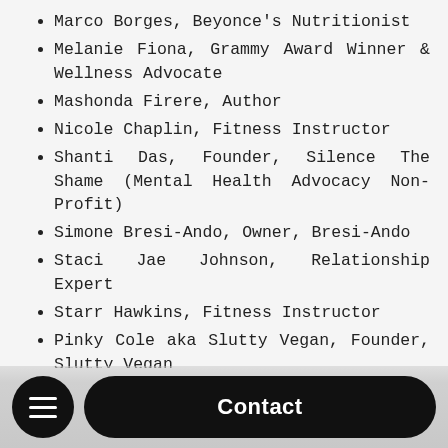Marco Borges, Beyonce's Nutritionist
Melanie Fiona, Grammy Award Winner & Wellness Advocate
Mashonda Firere, Author
Nicole Chaplin, Fitness Instructor
Shanti Das, Founder, Silence The Shame (Mental Health Advocacy Non-Profit)
Simone Bresi-Ando, Owner, Bresi-Ando
Staci Jae Johnson, Relationship Expert
Starr Hawkins, Fitness Instructor
Pinky Cole aka Slutty Vegan, Founder, Slutty Vegan
Trap Yoga Bae®, Fitness Instructor
A full lineup of participants and events can be... vi...